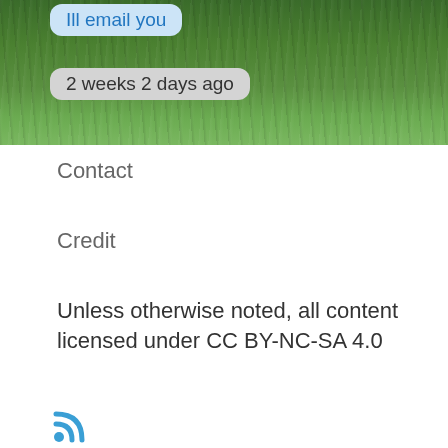[Figure (photo): Grass background photo with chat message bubbles showing 'Ill email you' in blue and '2 weeks 2 days ago' in grey]
Ill email you
2 weeks 2 days ago
Contact
Credit
Unless otherwise noted, all content licensed under CC BY-NC-SA 4.0
[Figure (other): RSS feed icon in blue]
LOG IN
[Figure (illustration): Yellow sun/star shape illustration on grey background with donation call to action text and green donate button]
GEO relies on and thrives with your support—please donate!